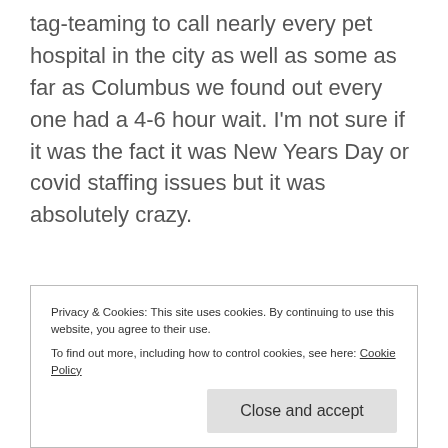tag-teaming to call nearly every pet hospital in the city as well as some as far as Columbus we found out every one had a 4-6 hour wait. I'm not sure if it was the fact it was New Years Day or covid staffing issues but it was absolutely crazy.
We eventually decided on one on the north side of Indy that came highly recommend by neighbors and a vet tech friend of mine from
Privacy & Cookies: This site uses cookies. By continuing to use this website, you agree to their use.
To find out more, including how to control cookies, see here: Cookie Policy
Close and accept